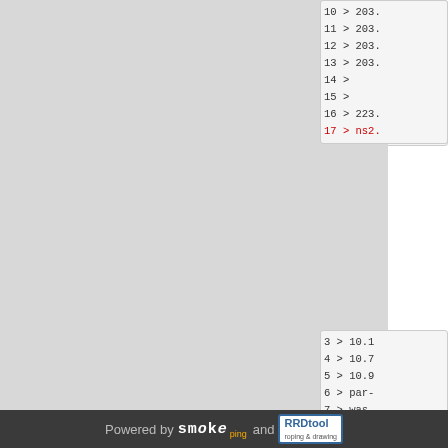[Figure (screenshot): Left gray panel showing truncated content area]
10 > 203.
11 > 203.
12 > 203.
13 > 203.
14 >
15 >
16 > 223.
17 > ns2. (red)
3 > 10.1
4 > 10.7
5 > 10.9
6 > par-
7 > was-
8 > be10
9 > sing
10 > 203.
11 > 203.
12 > 203.
13 > 203.
14 >
15 >
16 > 223.
17 > ns2. (red)
Powered by smoke ping and RRDtool